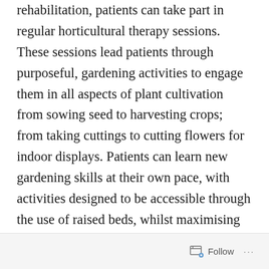rehabilitation, patients can take part in regular horticultural therapy sessions. These sessions lead patients through purposeful, gardening activities to engage them in all aspects of plant cultivation from sowing seed to harvesting crops; from taking cuttings to cutting flowers for indoor displays. Patients can learn new gardening skills at their own pace, with activities designed to be accessible through the use of raised beds, whilst maximising social, cognitive and physical functions as well as enhancing general health and well-being.
Follow ···